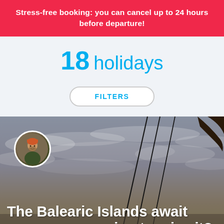Stress-free booking: you can cancel up to 24 hours before departure!
18 holidays
FILTERS
[Figure (photo): Outdoor photo with dramatic cloudy sky. Silhouette of a person's hand gripping sail/kite lines against the sky. A circular profile photo of a man wearing outdoor gear is overlaid in the top-left corner. Text overlay at bottom reads: The Balearic Islands await you, are you going to miss it?]
The Balearic Islands await you, are you going to miss it?